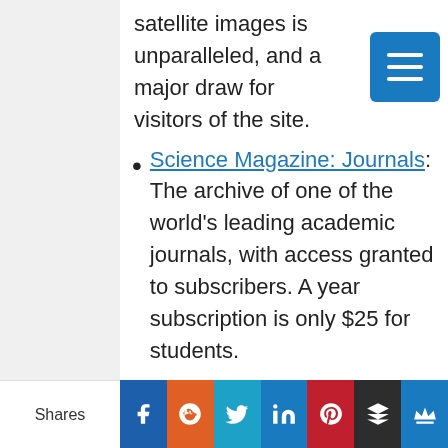satellite images is unparalleled, and a major draw for visitors of the site.
Science Magazine: Journals: The archive of one of the world's leading academic journals, with access granted to subscribers. A year subscription is only $25 for students.
Astrophysics Data System: Run by the Smithsonian Astrophysical Observatory
Shares | Facebook | Reddit | Twitter | LinkedIn | Pinterest | Buffer | Crown